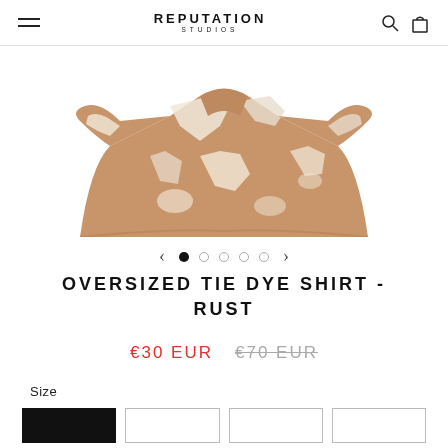REPUTATION STUDIOS
[Figure (photo): Overhead cropped view of an oversized tie-dye shirt in rust/brown and white tones on a white background]
< • ○ ○ ○ ○ >
OVERSIZED TIE DYE SHIRT - RUST
€30 EUR  €70 EUR
Size